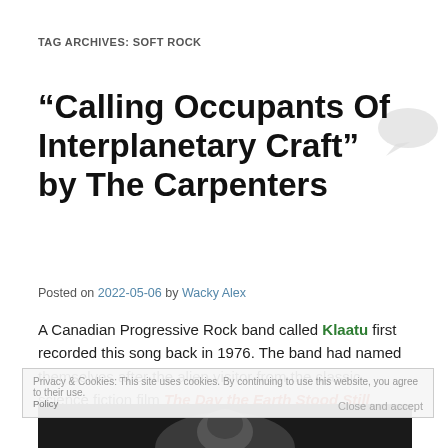TAG ARCHIVES: SOFT ROCK
“Calling Occupants Of Interplanetary Craft” by The Carpenters
Posted on 2022-05-06 by Wacky Alex
A Canadian Progressive Rock band called Klaatu first recorded this song back in 1976. The band had named themselves after the alien visitor from the classic science fiction film The Day the Earth Stood Still.
Privacy & Cookies: This site uses cookies. By continuing to use this website, you agree to their use. Close and accept
[Figure (photo): Black and white photo at bottom of page showing partial view of a person]